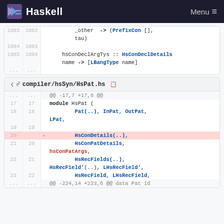Haskell  Menu
| old_ln | new_ln | sign | code |
| --- | --- | --- | --- |
| 1083 | 1082 |  | _other  -> (PrefixCon [], |
|  |  |  | tau) |
| 1084 | 1083 |  |  |
| 1085 | 1084 |  | hsConDeclArgTys :: HsConDeclDetails |
|  |  |  | name -> [LBangType name] |
| ... | ... |  |  |
compiler/hsSyn/HsPat.hs
| old_ln | new_ln | sign | code |
| --- | --- | --- | --- |
| ... | ... |  | @@ -17,7 +17,6 @@ |
| 17 | 17 |  | module HsPat ( |
| 18 | 18 |  |         Pat(..), InPat, OutPat, LPat, |
| 19 | 19 |  |  |
| 20 |  | - |         HsConDetails(..), |
| 21 | 20 |  |         HsConPatDetails, hsConPatArgs, |
| 22 | 21 |  |         HsRecFields(..), HsRecField'(..), LHsRecField', |
| 23 | 22 |  |         HsRecField, LHsRecField, |
| ... | ... |  | @@ -224,14 +223,6 @@ data Pat id |